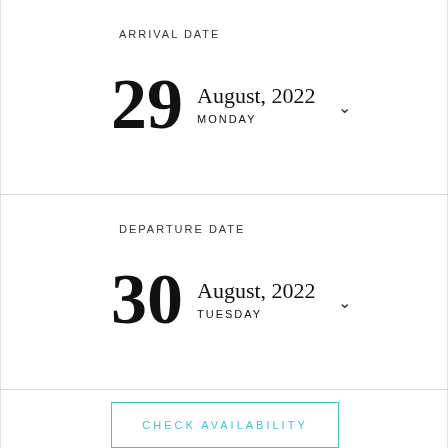ARRIVAL DATE
29 August, 2022 MONDAY
DEPARTURE DATE
30 August, 2022 TUESDAY
CHECK AVAILABILITY